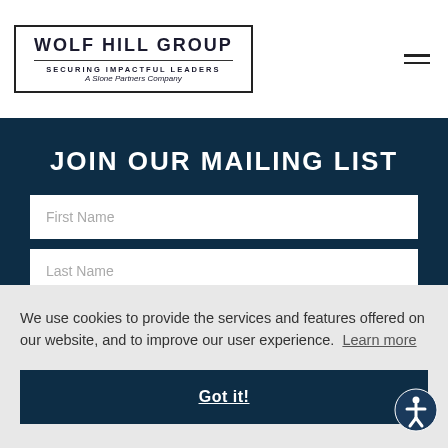[Figure (logo): Wolf Hill Group logo - a bordered box with the text 'WOLF HILL GROUP', a horizontal rule, 'SECURING IMPACTFUL LEADERS', and 'A Slone Partners Company']
JOIN OUR MAILING LIST
First Name
Last Name
We use cookies to provide the services and features offered on our website, and to improve our user experience. Learn more
Got it!